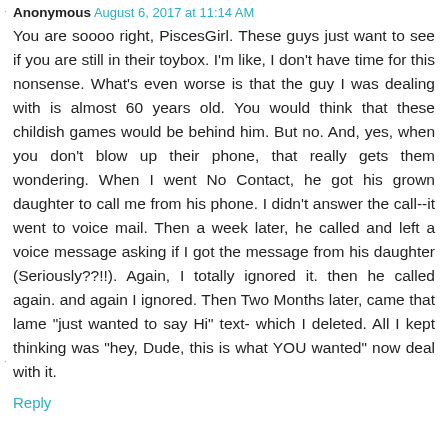Anonymous · August 6, 2017 at 11:14 AM
You are soooo right, PiscesGirl. These guys just want to see if you are still in their toybox. I'm like, I don't have time for this nonsense. What's even worse is that the guy I was dealing with is almost 60 years old. You would think that these childish games would be behind him. But no. And, yes, when you don't blow up their phone, that really gets them wondering. When I went No Contact, he got his grown daughter to call me from his phone. I didn't answer the call--it went to voice mail. Then a week later, he called and left a voice message asking if I got the message from his daughter (Seriously??!!). Again, I totally ignored it. then he called again. and again I ignored. Then Two Months later, came that lame "just wanted to say Hi" text- which I deleted. All I kept thinking was "hey, Dude, this is what YOU wanted" now deal with it.
Reply
piscesgirl · August 6, 2017 at 1:56 AM
Staying no contact has become easier for me over the years though I still wrestle with my feelings and emotions